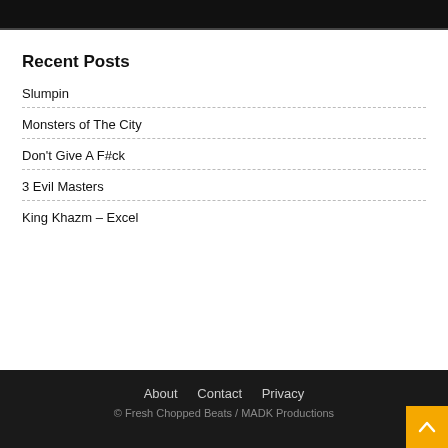[Figure (photo): Dark/black image strip at top of page]
Recent Posts
Slumpin
Monsters of The City
Don't Give A F#ck
3 Evil Masters
King Khazm – Excel
About   Contact   Privacy
© Fresh Chopped Beats / MADK Productions